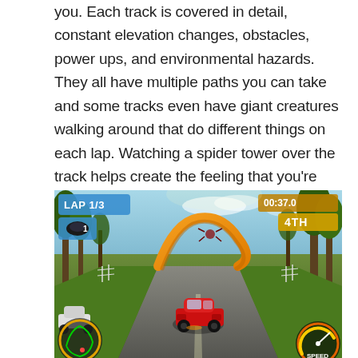you. Each track is covered in detail, constant elevation changes, obstacles, power ups, and environmental hazards. They all have multiple paths you can take and some tracks even have giant creatures walking around that do different things on each lap. Watching a spider tower over the track helps create the feeling that you're driving a tiny Hot Wheels car.
[Figure (screenshot): Screenshot of a Hot Wheels racing video game showing a red car on a jungle track with an orange loop in the background. HUD shows LAP 1/3 in the top-left and 00:37.0 with 4TH position in the top-right.]